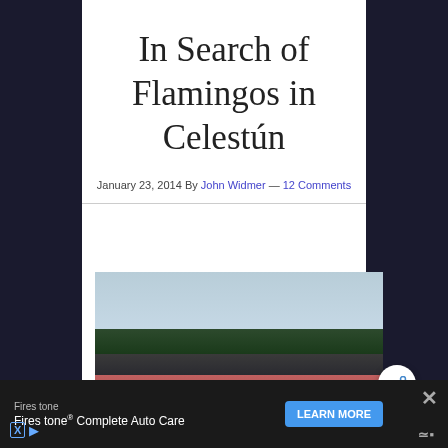In Search of Flamingos in Celestún
January 23, 2014 By John Widmer — 12 Comments
[Figure (photo): Flock of flamingos in water near mangrove trees in Celestún, Mexico. Sky visible in upper portion, dark tree line in middle, pink flamingos clustered in lower half of image.]
Firestone  Firestone® Complete Auto Care  LEARN MORE